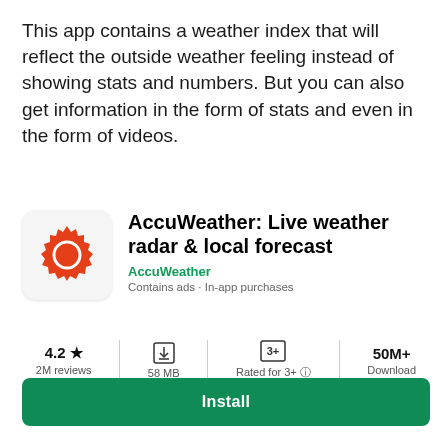This app contains a weather index that will reflect the outside weather feeling instead of showing stats and numbers. But you can also get information in the form of stats and even in the form of videos.
[Figure (screenshot): AccuWeather app listing card showing app icon (red sun logo on white background), app title 'AccuWeather: Live weather radar & local forecast', developer name 'AccuWeather', metadata 'Contains ads · In-app purchases', stats row with 4.2 star rating (2M reviews), 58 MB size, Rated for 3+, 50M+ Downloads, and green Install button]